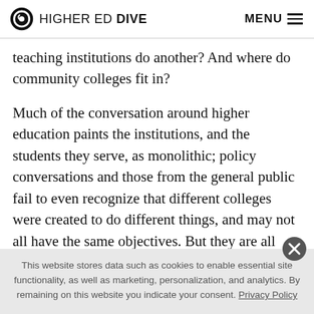HIGHER ED DIVE  MENU
teaching institutions do another? And where do community colleges fit in?
Much of the conversation around higher education paints the institutions, and the students they serve, as monolithic; policy conversations and those from the general public fail to even recognize that different colleges were created to do different things, and may not all have the same objectives. But they are all measured
This website stores data such as cookies to enable essential site functionality, as well as marketing, personalization, and analytics. By remaining on this website you indicate your consent. Privacy Policy